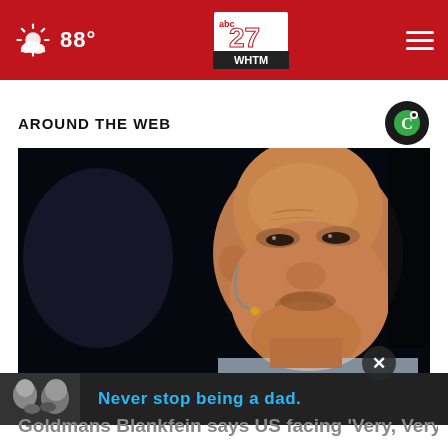88° abc27 WHTM
AROUND THE WEB
[Figure (photo): Bald man in dark setting speaking into a headset microphone, close-up portrait in low light]
[Figure (photo): Advertisement banner: black-and-white image of two people, text reading 'Never stop being a dad.' in blue]
Goldmans Blankfein says US facing 'Very, Very